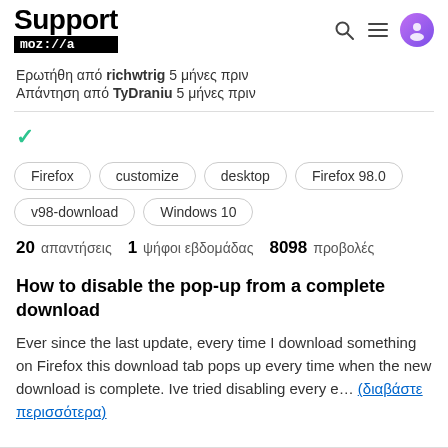Support mozilla
Ερωτήθη από richwtrig 5 μήνες πριν
Απάντηση από TyDraniu 5 μήνες πριν
✓
Firefox
customize
desktop
Firefox 98.0
v98-download
Windows 10
20 απαντήσεις  1 ψήφοι εβδομάδας  8098 προβολές
How to disable the pop-up from a complete download
Ever since the last update, every time I download something on Firefox this download tab pops up every time when the new download is complete. Ive tried disabling every e... (διαβάστε περισσότερα)